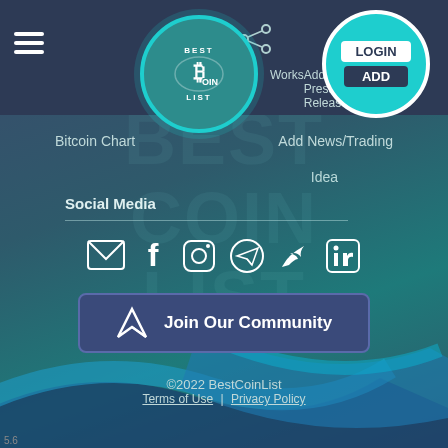[Figure (screenshot): BestCoinList website screenshot showing navigation bar with logo, hamburger menu, login/add buttons, social media icons, Join Our Community button, and footer links]
5.6